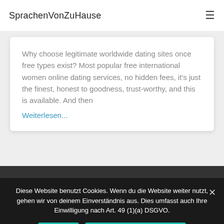SprachenVonZuHause
Why choose legitimate worldwide dating sites once free types exist? Most popular free international women online dating services, no hidden fees, it's just the finest, honest to goodness, trust-worthy, and this is available. And then Weiterlesen...
DEUTSCH-BOSNISCH  DEUTSCH-KROATISCH  IMPRESSUM
Diese Website benutzt Cookies. Wenn du die Website weiter nutzt, gehen wir von deinem Einverständnis aus. Dies umfasst auch Ihre Einwilligung nach Art. 49 (1)(a) DSGVO.